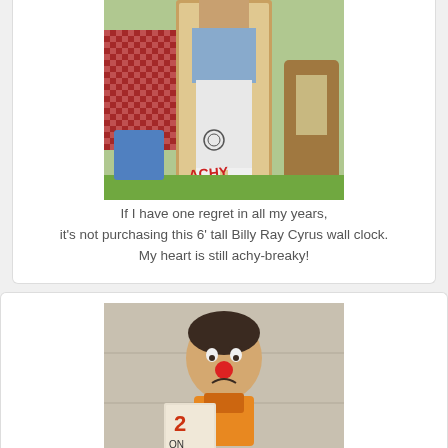[Figure (photo): A tall cardboard cutout or wall clock featuring Billy Ray Cyrus in a blue shirt and white jeans, standing at an outdoor flea market or yard sale, surrounded by tables with items and chairs.]
If I have one regret in all my years, it's not purchasing this 6' tall Billy Ray Cyrus wall clock. My heart is still achy-breaky!
[Figure (photo): A clown figurine or statue with a red nose, dark hair, and a sad/downcast expression, holding what appears to be a sign or object labeled '2 ON', displayed possibly in a shop or indoor setting.]